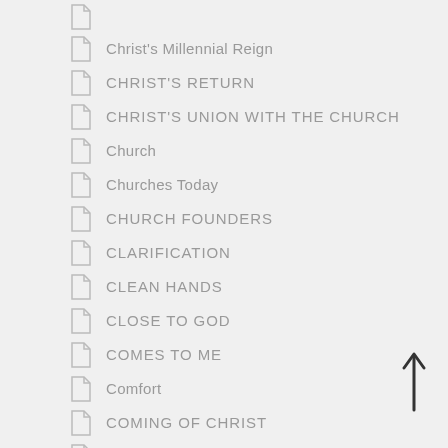Christ's Millennial Reign
CHRIST'S RETURN
CHRIST'S UNION WITH THE CHURCH
Church
Churches Today
CHURCH FOUNDERS
CLARIFICATION
CLEAN HANDS
CLOSE TO GOD
COMES TO ME
Comfort
COMING OF CHRIST
COMMITTED
Commit Your Marriage Plans To God